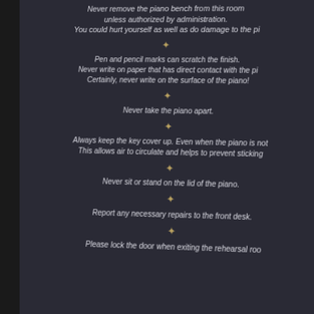[Figure (photo): A blurry photograph of a dark sign with white italic text listing piano room rules, mounted on a yellow-green wall. The sign is partially visible — cropped on the right side. Rules about the piano bench, pen/pencil marks, taking the piano apart, keeping the key cover up, sitting/standing on the lid, reporting repairs, and locking the door are listed with small decorative cross dividers between them.]